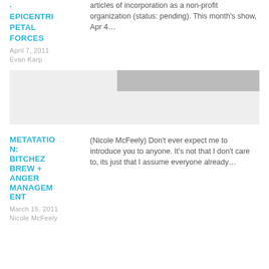articles of incorporation as a non-profit organization (status: pending). This month's show, Apr 4…
EPICENTRIPETAL FORCES
April 7, 2011
Evan Karp
[Figure (photo): Placeholder image block with grey rectangle in upper-right area]
METATATION: BITCHEZ BREW + ANGER MANAGEMENT
(Nicole McFeely) Don't ever expect me to introduce you to anyone. It's not that I don't care to, its just that I assume everyone already…
March 15, 2011
Nicole McFeely